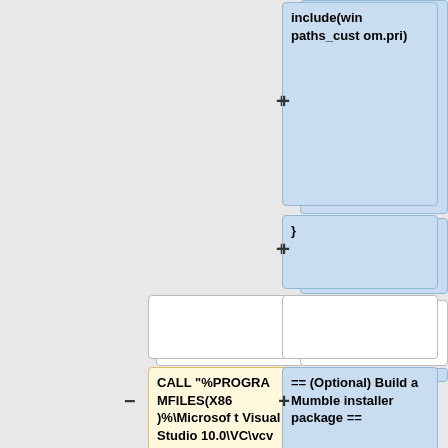[Figure (other): Diff view showing code/documentation changes. Blue blocks indicate added content, yellow block indicates removed content. Content includes: 'include(win paths_custom.pri)', '}', empty blocks, 'CALL "%PROGRAMFILES(X86)%\Microsoft Visual Studio 10.0\VC\vcvarsall.bat" x86', '== (Optional) Build a Mumble installer package ==', 'If you want to create an installable .msi package']